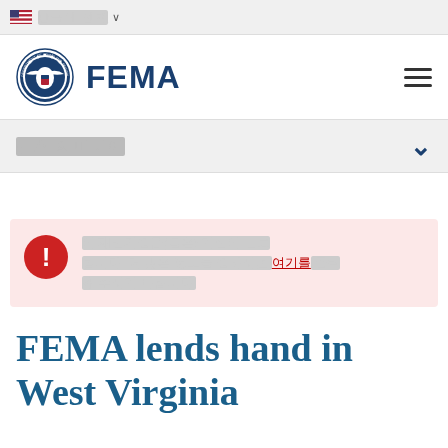🇺🇸 [language selector]
[Figure (logo): FEMA logo with Department of Homeland Security seal and FEMA wordmark]
[Navigation menu: redacted text] ∨
! [Alert box with redacted Korean text about registration deadline with link]
FEMA lends hand in West Virginia